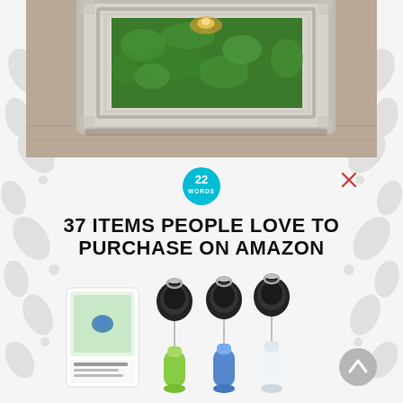[Figure (photo): Photo of a framed terrarium or moss art with green moss and small light, in a silver/white rustic frame, placed on a wooden surface, viewed from an angle]
[Figure (logo): Circular teal/cyan badge with '22 WORDS' text inside]
37 ITEMS PEOPLE LOVE TO PURCHASE ON AMAZON
[Figure (photo): Product photo of retractable badge reel set with silicone travel bottles in green, blue, and white/clear, shown with packaging box]
[Figure (other): Gray circular scroll-to-top button with upward chevron arrow]